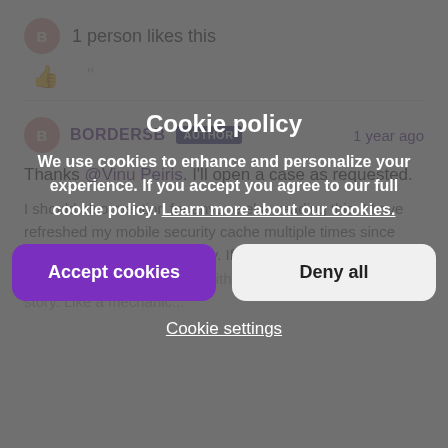1 person likes this
BORDERSB  AUTHOR  1 year ago
Thanks @Vinu Peiris. I'll open a case as requested.
I should also mention for anyone else reading this, I have refreshed my mobile security cache multiple times since creating the WTC and survey. If I make any change it is just 2nd nature to do so. Same with browser cache as in the story. Like a mechanic...
1 person l...
[Figure (screenshot): Cookie policy overlay dialog with title 'Cookie policy', body text about cookies and a learn more link, Accept cookies button (purple), Deny all button (light gray), and Cookie settings link at bottom.]